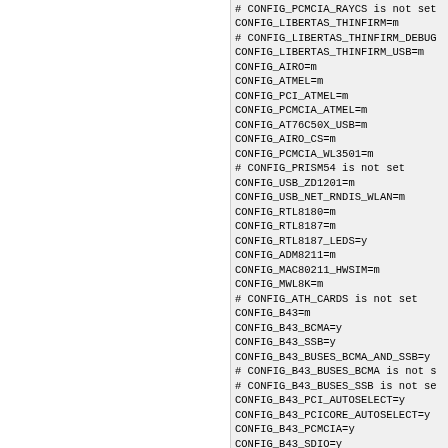# CONFIG_PCMCIA_RAYCS is not set
CONFIG_LIBERTAS_THINFIRM=m
# CONFIG_LIBERTAS_THINFIRM_DEBUG
CONFIG_LIBERTAS_THINFIRM_USB=m
CONFIG_AIRO=m
CONFIG_ATMEL=m
CONFIG_PCI_ATMEL=m
CONFIG_PCMCIA_ATMEL=m
CONFIG_AT76C50X_USB=m
CONFIG_AIRO_CS=m
CONFIG_PCMCIA_WL3501=m
# CONFIG_PRISM54 is not set
CONFIG_USB_ZD1201=m
CONFIG_USB_NET_RNDIS_WLAN=m
CONFIG_RTL8180=m
CONFIG_RTL8187=m
CONFIG_RTL8187_LEDS=y
CONFIG_ADM8211=m
CONFIG_MAC80211_HWSIM=m
CONFIG_MWL8K=m
# CONFIG_ATH_CARDS is not set
CONFIG_B43=m
CONFIG_B43_BCMA=y
CONFIG_B43_SSB=y
CONFIG_B43_BUSES_BCMA_AND_SSB=y
# CONFIG_B43_BUSES_BCMA is not s
# CONFIG_B43_BUSES_SSB is not se
CONFIG_B43_PCI_AUTOSELECT=y
CONFIG_B43_PCICORE_AUTOSELECT=y
CONFIG_B43_PCMCIA=y
CONFIG_B43_SDIO=y
CONFIG_B43_BCMA_PIO=y